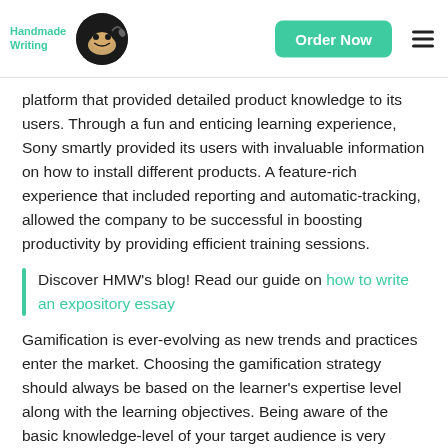Handmade Writing | Order Now
platform that provided detailed product knowledge to its users. Through a fun and enticing learning experience, Sony smartly provided its users with invaluable information on how to install different products. A feature-rich experience that included reporting and automatic-tracking, allowed the company to be successful in boosting productivity by providing efficient training sessions.
Discover HMW's blog! Read our guide on how to write an expository essay
Gamification is ever-evolving as new trends and practices enter the market. Choosing the gamification strategy should always be based on the learner's expertise level along with the learning objectives. Being aware of the basic knowledge-level of your target audience is very important since it will give you an idea of how you are to go about incorporating various features in to your training program. Remember, you should always try the game out first, testing it from a fresh perspective. It won't be